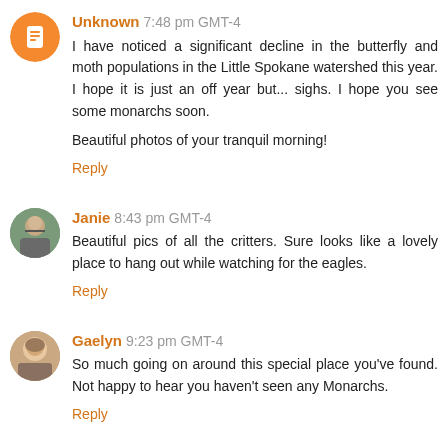Unknown 7:48 pm GMT-4
I have noticed a significant decline in the butterfly and moth populations in the Little Spokane watershed this year. I hope it is just an off year but... sighs. I hope you see some monarchs soon.

Beautiful photos of your tranquil morning!
Reply
Janie 8:43 pm GMT-4
Beautiful pics of all the critters. Sure looks like a lovely place to hang out while watching for the eagles.
Reply
Gaelyn 9:23 pm GMT-4
So much going on around this special place you've found. Not happy to hear you haven't seen any Monarchs.
Reply